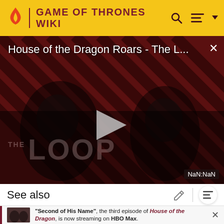GAME OF THRONES WIKI
[Figure (screenshot): Video player showing 'House of the Dragon Roars - The L...' with a diagonal striped red/dark background, two figures visible, a play button in the center, 'THE LOOP' text watermark, and NaN:NaN timestamp in the bottom right corner.]
See also
"Second of His Name", the third episode of House of the Dragon, is now streaming on HBO Max.